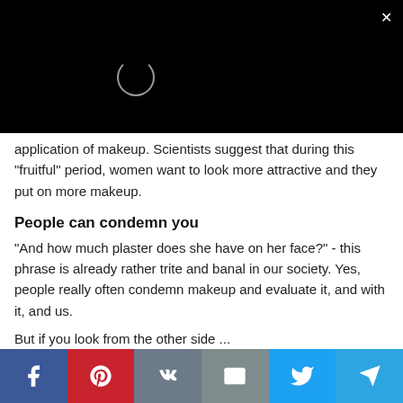[Figure (screenshot): Black video player area with loading spinner circle and close (x) button in top-right corner]
application of makeup. Scientists suggest that during this 'fruitful' period, women want to look more attractive and they put on more makeup.
People can condemn you
“And how much plaster does she have on her face?” - this phrase is already rather trite and banal in our society. Yes, people really often condemn makeup and evaluate it, and with it, and us.
But if you look from the other side ...
You may feel prettier
[Figure (infographic): Social sharing bar with Facebook, Pinterest, VK, Mail, Twitter, and Telegram buttons]